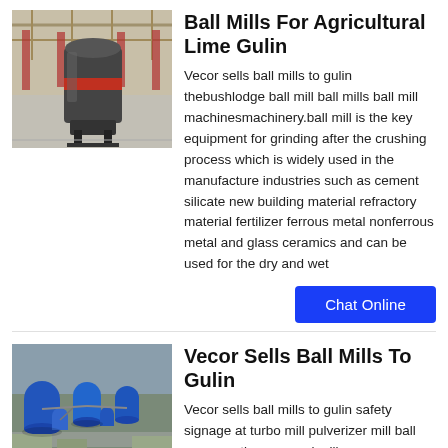Ball Mills For Agricultural Lime Gulin
[Figure (photo): Industrial ball mill machine in a large warehouse/factory setting]
Vecor sells ball mills to gulin thebushlodge ball mill ball mills ball mill machinesmachinery.ball mill is the key equipment for grinding after the crushing process which is widely used in the manufacture industries such as cement silicate new building material refractory material fertilizer ferrous metal nonferrous metal and glass ceramics and can be used for the dry and wet
Vecor Sells Ball Mills To Gulin
[Figure (photo): Aerial view of an industrial processing plant with blue tanks and machinery]
Vecor sells ball mills to gulin safety signage at turbo mill pulverizer mill ball peneumatic essa coal mill vs pulverizercoal processing plant read more >> get more used ball mills for sale from machinery and equipment.